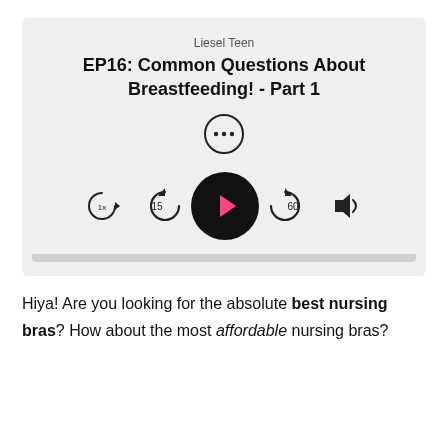[Figure (screenshot): Podcast player UI showing Liesel Teen EP16: Common Questions About Breastfeeding! - Part 1, with play controls including speed (1x), back 15s, play button, forward 60s, and volume.]
Hiya! Are you looking for the absolute best nursing bras? How about the most affordable nursing bras?